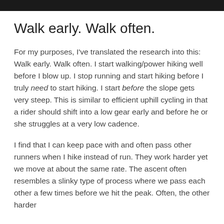Walk early. Walk often.
For my purposes, I've translated the research into this: Walk early. Walk often. I start walking/power hiking well before I blow up. I stop running and start hiking before I truly need to start hiking. I start before the slope gets very steep. This is similar to efficient uphill cycling in that a rider should shift into a low gear early and before he or she struggles at a very low cadence.
I find that I can keep pace with and often pass other runners when I hike instead of run. They work harder yet we move at about the same rate. The ascent often resembles a slinky type of process where we pass each other a few times before we hit the peak. Often, the other harder